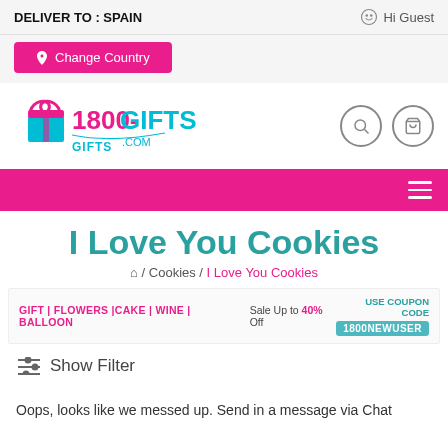DELIVER TO : SPAIN   Hi Guest
Change Country
[Figure (logo): 1800-GIFTS.COM logo with gift box icon]
I Love You Cookies
🏠 / Cookies / I Love You Cookies
GIFT | FLOWERS |CAKE | WINE | BALLOON   Sale Up to 40% Off   USE COUPON CODE 1800NEWUSER
Show Filter
Oops, looks like we messed up. Send in a message via Chat